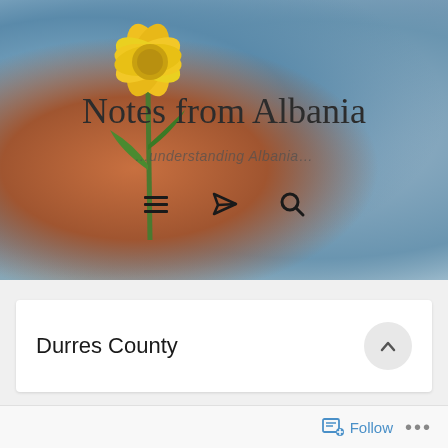[Figure (photo): Hero image of a hand holding a yellow flower against a blue-grey sky background, with blog title overlay]
Notes from Albania
…understanding Albania…
Durres County
Follow …